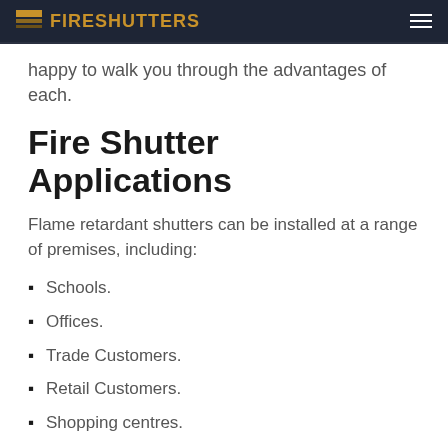FIRESHUTTERS
happy to walk you through the advantages of each.
Fire Shutter Applications
Flame retardant shutters can be installed at a range of premises, including:
Schools.
Offices.
Trade Customers.
Retail Customers.
Shopping centres.
Enquire Now